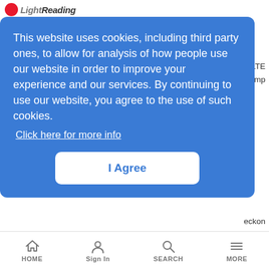Light Reading
This website uses cookies, including third party ones, to allow for analysis of how people use our website in order to improve your experience and our services. By continuing to use our website, you agree to the use of such cookies. Click here for more info
I Agree
Microsoft Lights a Fire Under Open Source Hardware Dev
News Analysis | 11/1/2016
Microsoft's new Project Olympus is not only a new specification for server hardware – it also offers a model for speeding up open source hardware development.
HOME  Sign In  SEARCH  MORE